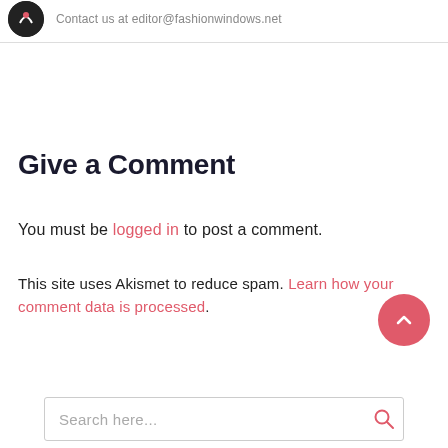Contact us at editor@fashionwindows.net
Give a Comment
You must be logged in to post a comment.
This site uses Akismet to reduce spam. Learn how your comment data is processed.